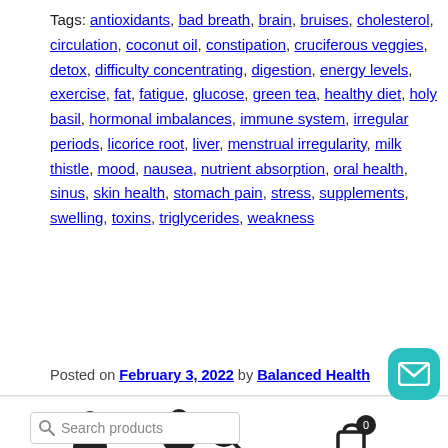Tags: antioxidants, bad breath, brain, bruises, cholesterol, circulation, coconut oil, constipation, cruciferous veggies, detox, difficulty concentrating, digestion, energy levels, exercise, fat, fatigue, glucose, green tea, healthy diet, holy basil, hormonal imbalances, immune system, irregular periods, licorice root, liver, menstrual irregularity, milk thistle, mood, nausea, nutrient absorption, oral health, sinus, skin health, stomach pain, stress, supplements, swelling, toxins, triglycerides, weakness
Posted on February 3, 2022 by Balanced Health